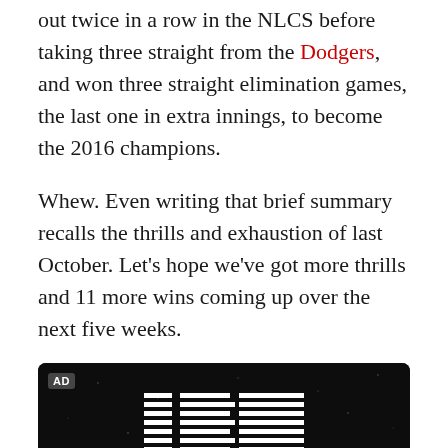out twice in a row in the NLCS before taking three straight from the Dodgers, and won three straight elimination games, the last one in extra innings, to become the 2016 champions.
Whew. Even writing that brief summary recalls the thrills and exhaustion of last October. Let's hope we've got more thrills and 11 more wins coming up over the next five weeks.
[Figure (illustration): IBM advertisement banner with dark starfield background. IBM logo in white horizontal-striped style at top center. Large yellow bold text 'ASTRO' at the bottom with a small teal dot. Small 'AD' label badge in upper left corner.]